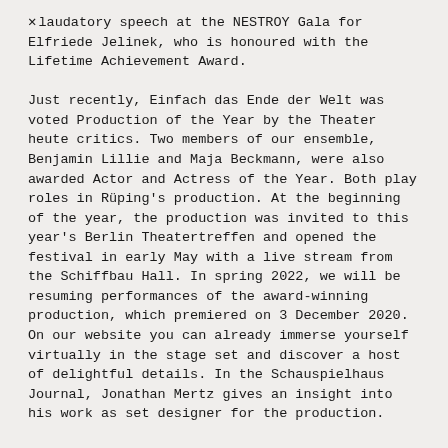laudatory speech at the NESTROY Gala for Elfriede Jelinek, who is honoured with the Lifetime Achievement Award.

Just recently, Einfach das Ende der Welt was voted Production of the Year by the Theater heute critics. Two members of our ensemble, Benjamin Lillie and Maja Beckmann, were also awarded Actor and Actress of the Year. Both play roles in Rüping's production. At the beginning of the year, the production was invited to this year's Berlin Theatertreffen and opened the festival in early May with a live stream from the Schiffbau Hall. In spring 2022, we will be resuming performances of the award-winning production, which premiered on 3 December 2020. On our website you can already immerse yourself virtually in the stage set and discover a host of delightful details. In the Schauspielhaus Journal, Jonathan Mertz gives an insight into his work as set designer for the production.
30. September 2021
Schauspielhaus On Tour